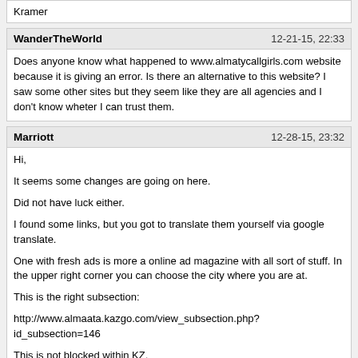Kramer
WanderTheWorld
12-21-15, 22:33
Does anyone know what happened to www.almatycallgirls.com website because it is giving an error. Is there an alternative to this website? I saw some other sites but they seem like they are all agencies and I don't know wheter I can trust them.
Marriott
12-28-15, 23:32
Hi,

It seems some changes are going on here.

Did not have luck either.

I found some links, but you got to translate them yourself via google translate.

One with fresh ads is more a online ad magazine with all sort of stuff. In the upper right corner you can choose the city where you are at.

This is the right subsection:

http://www.almaata.kazgo.com/view_subsection.php?id_subsection=146

This is not blocked within KZ.

What is blocked and is only working if you use VPN is kizdar.net.

It is blocked at my hotel at least.

Good variety 32 pages!

This one is in English, less information, but okay.